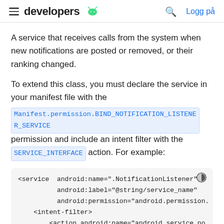developers [android logo] | [search] Logg på
A service that receives calls from the system when new notifications are posted or removed, or their ranking changed.
To extend this class, you must declare the service in your manifest file with the Manifest.permission.BIND_NOTIFICATION_LISTENER_SERVICE permission and include an intent filter with the SERVICE_INTERFACE action. For example:
[Figure (screenshot): Code block showing XML snippet: <service android:name=".NotificationListener" android:label="@string/service_name" android:permission="android.permission. <intent-filter> <action android:name="android.service.no]